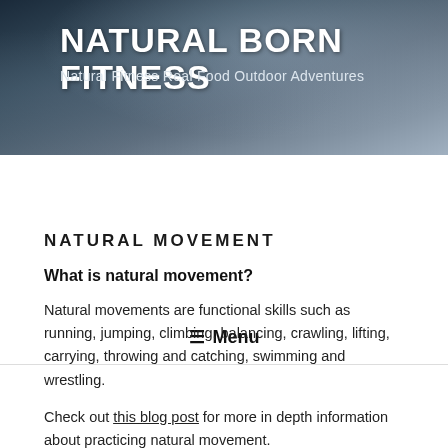NATURAL BORN FITNESS
Natural Fitness Real Food Outdoor Adventures
≡ Menu
NATURAL MOVEMENT
What is natural movement?
Natural movements are functional skills such as running, jumping, climbing, balancing, crawling, lifting, carrying, throwing and catching, swimming and wrestling.
Check out this blog post for more in depth information about practicing natural movement.
Why should we be doing it?